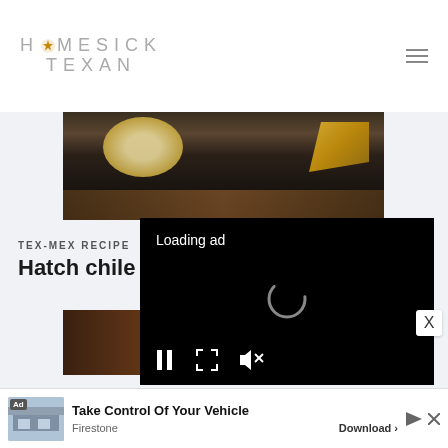HOMESICK TEXAN
[Figure (photo): Dark food photography showing a bowl of creamy dip/queso on a dark plate with tortilla chips and wooden surface]
TEX-MEX RECIPES
Hatch chile cr...
[Figure (screenshot): Video ad overlay on black background showing Loading ad text, spinner, and playback controls (pause, fullscreen, mute)]
[Figure (photo): Food photography showing baked/fried food items, appears to be bread or casserole]
[Figure (infographic): Advertisement banner: Take Control Of Your Vehicle - Firestone - Download button, with ad image of auto service center]